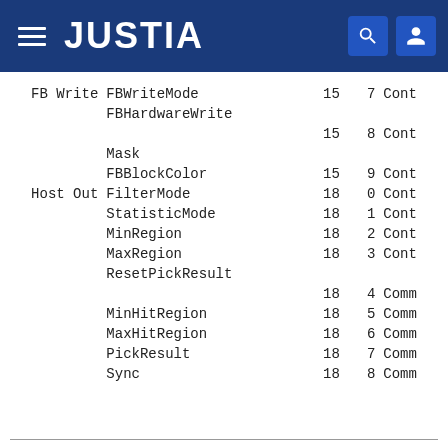JUSTIA
| Group | Name | Col1 | Col2 | Type |
| --- | --- | --- | --- | --- |
| FB Write | FBWriteMode | 15 | 7 | Cont |
|  | FBHardwareWrite |  |  |  |
|  |  | 15 | 8 | Cont |
|  | Mask |  |  |  |
|  | FBBlockColor | 15 | 9 | Cont |
| Host Out | FilterMode | 18 | 0 | Cont |
|  | StatisticMode | 18 | 1 | Cont |
|  | MinRegion | 18 | 2 | Cont |
|  | MaxRegion | 18 | 3 | Cont |
|  | ResetPickResult |  |  |  |
|  |  | 18 | 4 | Comm |
|  | MinHitRegion | 18 | 5 | Comm |
|  | MaxHitRegion | 18 | 6 | Comm |
|  | PickResult | 18 | 7 | Comm |
|  | Sync | 18 | 8 | Comm |